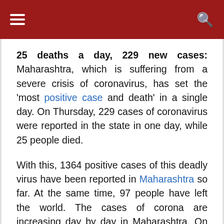☰  🔍
25 deaths a day, 229 new cases: Maharashtra, which is suffering from a severe crisis of coronavirus, has set the 'most positive case and death' in a single day. On Thursday, 229 cases of coronavirus were reported in the state in one day, while 25 people died.
With this, 1364 positive cases of this deadly virus have been reported in Maharashtra so far. At the same time, 97 people have left the world. The cases of corona are increasing day by day in Maharashtra. On Wednesday, the state had reported 150 cases and 18 deaths.
On Thursday, going a step ahead, established a 'National Record' of Corona. The rate of increase in positive cases was 6.2 percent on Wednesday, to